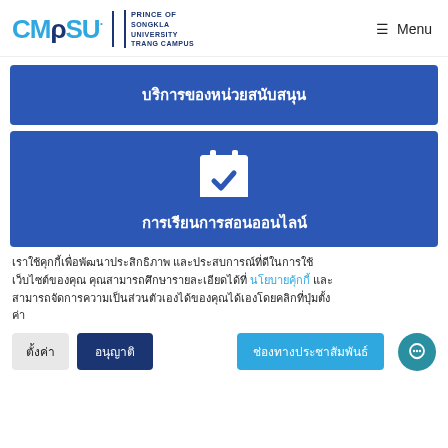CMPSU Prince of Songkla University Trang Campus — Menu
บริการของหน่วยสนับสนุน
[Figure (illustration): Blue banner with calendar/checkmark icon and text การเรียนการสอนออนไลน์]
เราใช้คุกกี้เพื่อพัฒนาประสิกธิภาพ และประสบการณ์ที่ดีในการใช้เว็บไซต์ของคุณ คุณสามารถศึกษารายละเอียดได้ที่ นโยบายคุ้กกี้ และสามารถจัดการความเป็นส่วนตัวเองได้ของคุณได้เองโดยคลิกที่ปุ่มตั้งค่า
ตั้งค่า    อนุญาติ    ช่องทางประชาสัมพันธ์